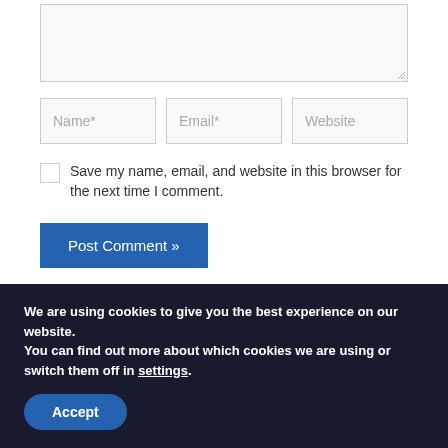[Figure (screenshot): A textarea input field (comment box) with a resize handle at the bottom-right corner, partially cropped at the top.]
[Figure (screenshot): Three inline text input fields labeled Name*, Email*, and Website.]
Save my name, email, and website in this browser for the next time I comment.
[Figure (screenshot): A blue button labeled 'Post Comment »'.]
We are using cookies to give you the best experience on our website.
You can find out more about which cookies we are using or switch them off in settings.
[Figure (screenshot): A blue rounded button labeled 'Accept' within the cookie consent banner.]